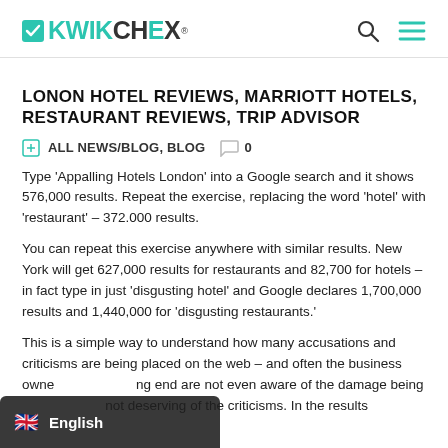KWIKCHEX
LONON HOTEL REVIEWS, MARRIOTT HOTELS, RESTAURANT REVIEWS, TRIP ADVISOR
ALL NEWS/BLOG, BLOG  0
Type ‘Appalling Hotels London’ into a Google search and it shows 576,000 results. Repeat the exercise, replacing the word ‘hotel’ with ‘restaurant’ – 372.000 results.
You can repeat this exercise anywhere with similar results. New York will get 627,000 results for restaurants and 82,700 for hotels – in fact type in just ‘disgusting hotel’ and Google declares 1,700,000 results and 1,440,000 for ‘disgusting restaurants.’
This is a simple way to understand how many accusations and criticisms are being placed on the web – and often the business owners at the receiving end are not even aware of the damage being done and are not deserving of the criticisms. In the results